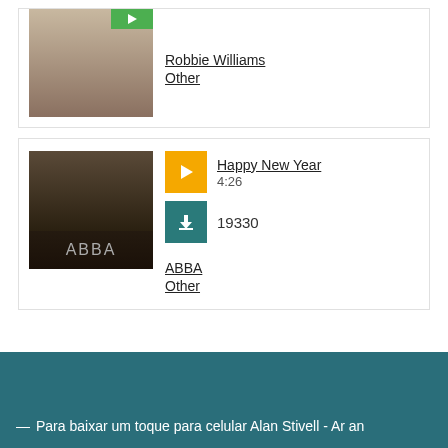[Figure (photo): Photo of Robbie Williams in a dark suit]
Robbie Williams
Other
[Figure (photo): ABBA album cover with four members]
[Figure (other): Yellow play button icon]
Happy New Year
4:26
[Figure (other): Teal download button icon]
19330
ABBA
Other
— Para baixar um toque para celular Alan Stivell - Ar an